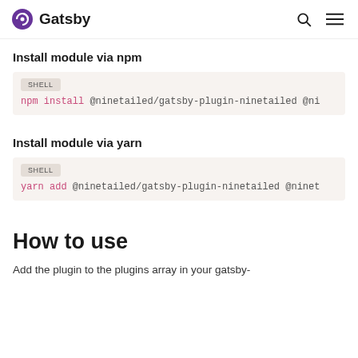Gatsby
Install module via npm
npm install @ninetailed/gatsby-plugin-ninetailed @ni
Install module via yarn
yarn add @ninetailed/gatsby-plugin-ninetailed @ninet
How to use
Add the plugin to the plugins array in your gatsby-